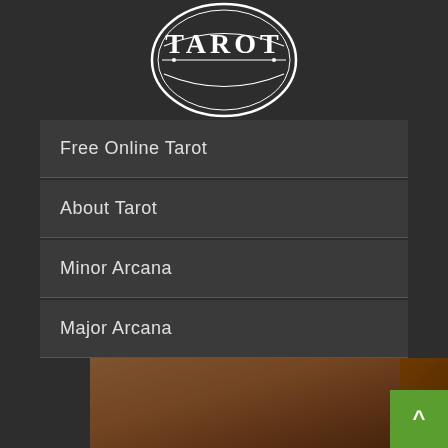[Figure (logo): Circular tarot logo with text TAROT in gothic/decorative font, white on dark background, octagonal border design]
Free Online Tarot
About Tarot
Minor Arcana
Major Arcana
[Figure (photo): Partial image showing warm brown tones with text 'The Common' overlaid in large white bold font at the bottom]
[Figure (other): Green scroll-to-top button with caret/arrow symbol in bottom right corner]